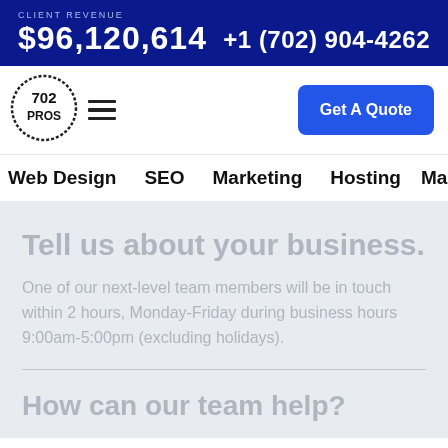CLIENT REVENUE $96,120,614   +1 (702) 904-4262
[Figure (logo): 702 PROS circular stamp logo]
Get A Quote
Web Design   SEO   Marketing   Hosting   Ma...
Tell us about your business.
One of our next-level team members will be in touch within 2 hours, Monday-Friday during business hours 9:00am-5:00pm (excluding holidays).
How can our team help?